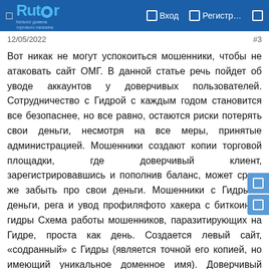Rutor — Вход — Регистр...
12/05/2022 #3
Вот никак не могут успокоиться мошенники, чтобы не атаковать сайт ОМГ. В данной статье речь пойдет об уводе аккаунтов у доверчивых пользователей. Сотрудничество с Гидрой с каждым годом становится все безопаснее, но все равно, остаются риски потерять свои деньги, несмотря на все меры, принятые администрацией. Мошенники создают копии торговой площадки, где доверчивый клиент, зарегистрировавшись и пополнив баланс, может сразу же забыть про свои деньги. Мошенники с Гидры – деньги, рега и увод профиляфото хакера с биткоином гидры Схема работы мошенников, паразитирующих на Гидре, проста как день. Создается левый сайт, «содранный» с Гидры (является точной его копией, но имеющий уникальное доменное имя). Доверчивый клиент, заходит на такой ресурс, регистрируется, пополняет баланс для совершения покупки и все! Деньги на счету мошенника и аккаунт становится недействительным. Вторая и не менее